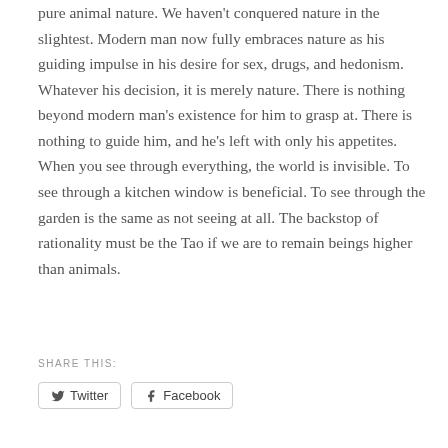pure animal nature. We haven't conquered nature in the slightest. Modern man now fully embraces nature as his guiding impulse in his desire for sex, drugs, and hedonism. Whatever his decision, it is merely nature. There is nothing beyond modern man's existence for him to grasp at. There is nothing to guide him, and he's left with only his appetites. When you see through everything, the world is invisible. To see through a kitchen window is beneficial. To see through the garden is the same as not seeing at all. The backstop of rationality must be the Tao if we are to remain beings higher than animals.
SHARE THIS:
[Figure (other): Two social share buttons: Twitter and Facebook]